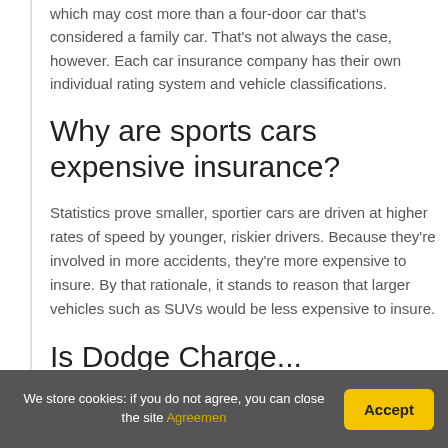which may cost more than a four-door car that's considered a family car. That's not always the case, however. Each car insurance company has their own individual rating system and vehicle classifications.
Why are sports cars expensive insurance?
Statistics prove smaller, sportier cars are driven at higher rates of speed by younger, riskier drivers. Because they're involved in more accidents, they're more expensive to insure. By that rationale, it stands to reason that larger vehicles such as SUVs would be less expensive to insure.
Is Dodge Charge...
We store cookies: if you do not agree, you can close the site Agreemen